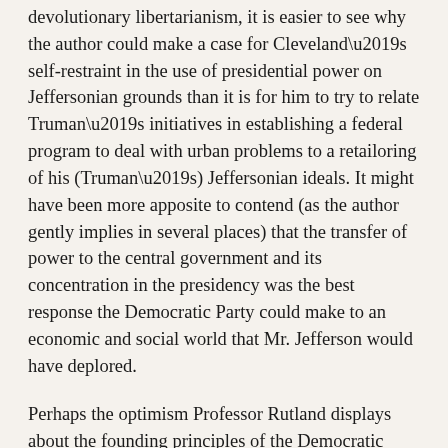devolutionary libertarianism, it is easier to see why the author could make a case for Cleveland's self-restraint in the use of presidential power on Jeffersonian grounds than it is for him to try to relate Truman's initiatives in establishing a federal program to deal with urban problems to a retailoring of his (Truman's) Jeffersonian ideals. It might have been more apposite to contend (as the author gently implies in several places) that the transfer of power to the central government and its concentration in the presidency was the best response the Democratic Party could make to an economic and social world that Mr. Jefferson would have deplored.
Perhaps the optimism Professor Rutland displays about the founding principles of the Democratic Party being kept intact in the face of its accretion of governmental power to offset the destabilizing effects of the massive power of the “interests” is reinforced by the fact that he